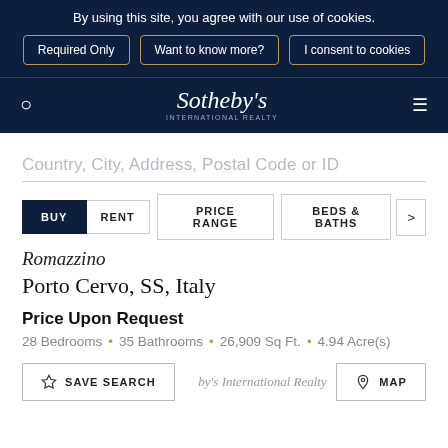By using this site, you agree with our use of cookies.
Required Only
Want to know more?
I consent to cookies
Sotheby's INTERNATIONAL REALTY
Country, City, Address, Postal Code or ID
BUY  RENT  PRICE RANGE  BEDS & BATHS
Romazzino
Porto Cervo, SS, Italy
Price Upon Request
28 Bedrooms • 35 Bathrooms • 26,909 Sq Ft. • 4.94 Acre(s)
SAVE SEARCH
Sotheby's International Realty
MAP